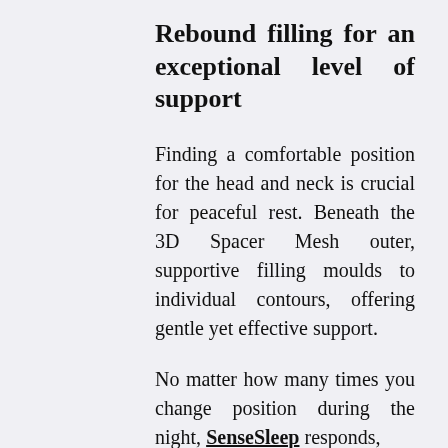Rebound filling for an exceptional level of support
Finding a comfortable position for the head and neck is crucial for peaceful rest. Beneath the 3D Spacer Mesh outer, supportive filling moulds to individual contours, offering gentle yet effective support.
No matter how many times you change position during the night, SenseSleep responds,